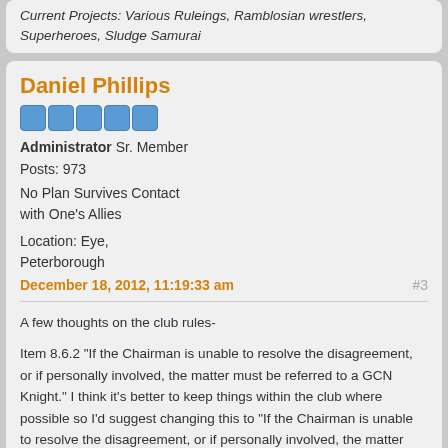Current Projects: Various Ruleings, Ramblosian wrestlers, Superheroes, Sludge Samurai
Daniel Phillips
Administrator Sr. Member
Posts: 973
No Plan Survives Contact with One's Allies
Location: Eye, Peterborough
December 18, 2012, 11:19:33 am
#3
A few thoughts on the club rules-

Item 8.6.2 "If the Chairman is unable to resolve the disagreement, or if personally involved, the matter must be referred to a GCN Knight." I think it's better to keep things within the club where possible so I'd suggest changing this to "If the Chairman is unable to resolve the disagreement, or if personally involved, the matter must be referred to an uninvolved member